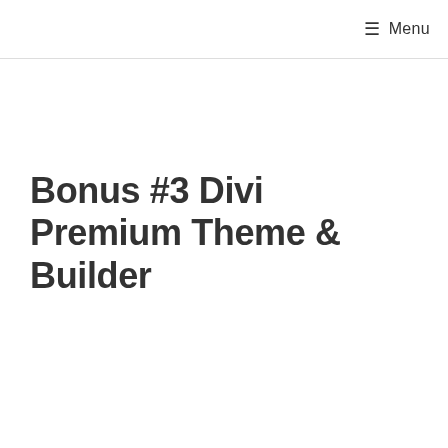≡ Menu
Bonus #3 Divi Premium Theme & Builder